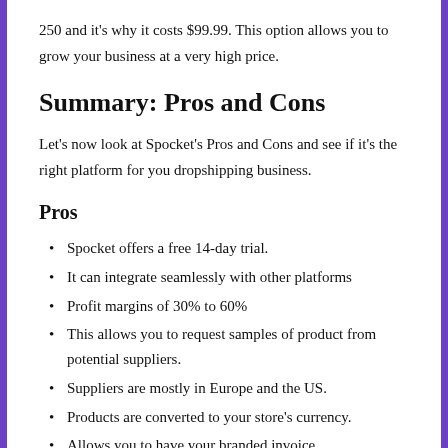250 and it's why it costs $99.99. This option allows you to grow your business at a very high price.
Summary: Pros and Cons
Let's now look at Spocket's Pros and Cons and see if it's the right platform for you dropshipping business.
Pros
Spocket offers a free 14-day trial.
It can integrate seamlessly with other platforms
Profit margins of 30% to 60%
This allows you to request samples of product from potential suppliers.
Suppliers are mostly in Europe and the US.
Products are converted to your store's currency.
Allows you to have your branded invoice.